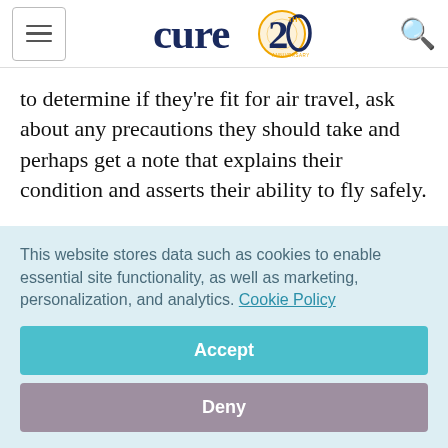cure20 [logo with hamburger menu and search icon]
to determine if they're fit for air travel, ask about any precautions they should take and perhaps get a note that explains their condition and asserts their ability to fly safely.
Some cancer centers that attract a significant percentage of their patients from far away help by
This website stores data such as cookies to enable essential site functionality, as well as marketing, personalization, and analytics. Cookie Policy
Accept
Deny